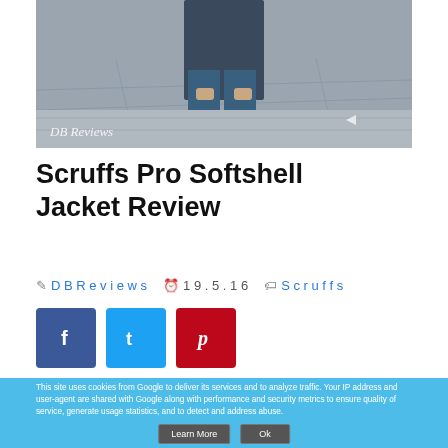[Figure (photo): Person wearing jeans standing on a paved surface, with 'DB Reviews' watermark in bottom-left corner]
Scruffs Pro Softshell Jacket Review
DB Reviews  19.5.16  Scruffs
[Figure (infographic): Social sharing buttons: Facebook (blue), Twitter (light blue), Pinterest (red)]
This site uses cookies from Google to deliver its services and to analyze traffic. Your IP address and user-agent are shared with Google along with performance and security metrics to ensure quality of service, generate usage statistics, and to detect and address abuse.
Learn More  Ok